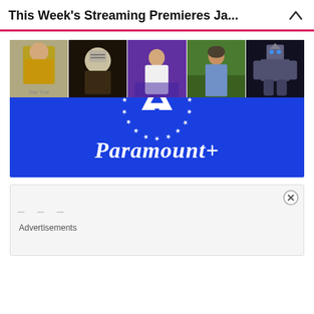This Week's Streaming Premieres Ja...
[Figure (photo): A horizontal strip of five images showing: a man in a Star Trek gold uniform, Jason Voorhees in muddy hockey mask and dark clothing, a woman in a white dress on a TV set, a man in a blue shirt outdoors, and a Transformers robot character]
[Figure (logo): Paramount+ logo on a bright blue background — white mountain peak inside a ring of white stars, with 'Paramount+' in white cursive script below]
Advertisements